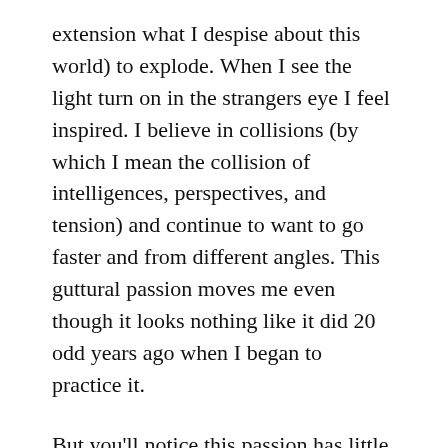extension what I despise about this world) to explode. When I see the light turn on in the strangers eye I feel inspired. I believe in collisions (by which I mean the collision of intelligences, perspectives, and tension) and continue to want to go faster and from different angles. This guttural passion moves me even though it looks nothing like it did 20 odd years ago when I began to practice it.
But you'll notice this passion has little to do with other people, with victory conditions, or something other people experience as a social scene. This is for good reason. For starters, I'm not particularly well-liked in most social scenes. I might be liked by a few people who